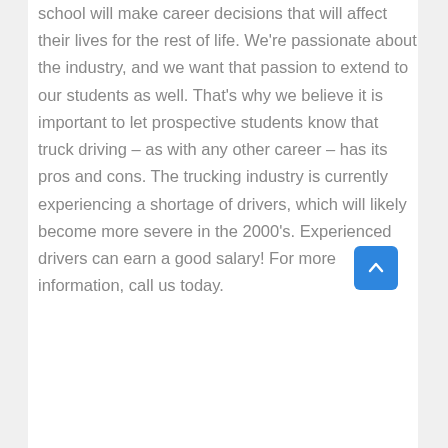school will make career decisions that will affect their lives for the rest of life. We're passionate about the industry, and we want that passion to extend to our students as well. That's why we believe it is important to let prospective students know that truck driving – as with any other career – has its pros and cons. The trucking industry is currently experiencing a shortage of drivers, which will likely become more severe in the 2000's. Experienced drivers can earn a good salary! For more information, call us today.
| Day | Hours |
| --- | --- |
| Monday | 08:00 AM - 04:30 PM |
| Tuesday | 08:00 AM - 04:30 PM |
| Wednesday | 08:00 AM - 04:30 PM |